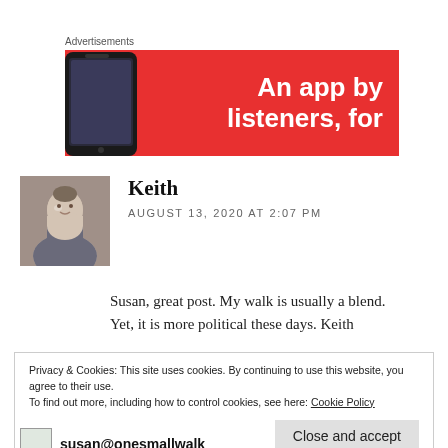Advertisements
[Figure (photo): Red advertisement banner with a smartphone image on the left and white bold text reading 'An app by listeners, for' on the right]
Keith
AUGUST 13, 2020 AT 2:07 PM
Susan, great post. My walk is usually a blend. Yet, it is more political these days. Keith
Privacy & Cookies: This site uses cookies. By continuing to use this website, you agree to their use.
To find out more, including how to control cookies, see here: Cookie Policy
susan@onesmallwalk